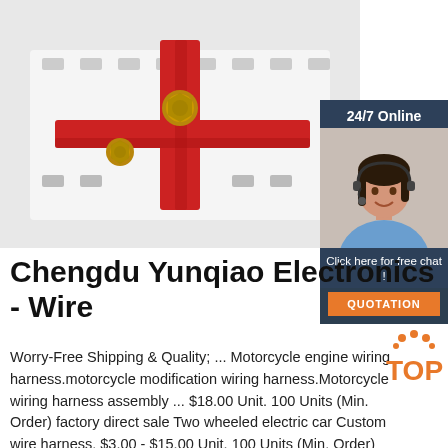[Figure (photo): Close-up photo of a red and white mechanical/electrical component with bolts, resembling a terminal block or engine bracket, on a white surface.]
[Figure (photo): Customer service representative widget: woman with headset smiling, with '24/7 Online' header, 'Click here for free chat!' and 'QUOTATION' button.]
Chengdu Yunqiao Electronics - Wire
Worry-Free Shipping & Quality; ... Motorcycle engine wiring harness.motorcycle modification wiring harness.Motorcycle wiring harness assembly ... $18.00 Unit. 100 Units (Min. Order) factory direct sale Two wheeled electric car Custom wire harness. $3.00 - $15.00 Unit. 100 Units (Min. Order) Factory direct selling
[Figure (logo): TOP badge logo with orange dots above text]